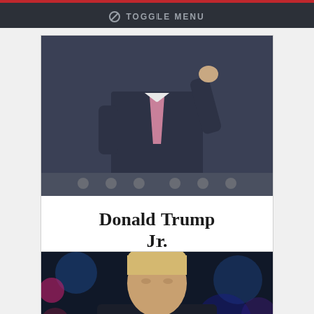⊘ TOGGLE MENU
[Figure (photo): A man in a dark suit with a pink tie speaking at a podium with a microphone, raising one hand.]
Donald Trump Jr.
Vote for Donald Trump Jr.
[Figure (photo): A man with grey-blonde hair in a dark suit and red tie, facing slightly to one side against a dark bokeh background with colorful lights.]